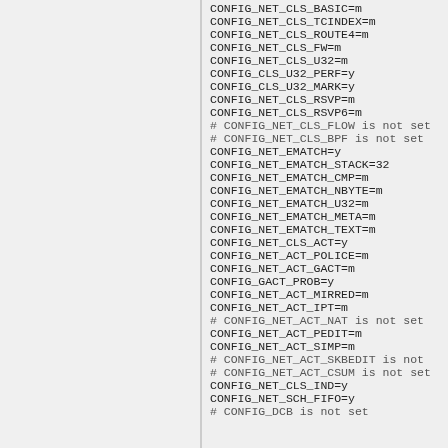CONFIG_NET_CLS_BASIC=m
CONFIG_NET_CLS_TCINDEX=m
CONFIG_NET_CLS_ROUTE4=m
CONFIG_NET_CLS_FW=m
CONFIG_NET_CLS_U32=m
CONFIG_CLS_U32_PERF=y
CONFIG_CLS_U32_MARK=y
CONFIG_NET_CLS_RSVP=m
CONFIG_NET_CLS_RSVP6=m
# CONFIG_NET_CLS_FLOW is not set
# CONFIG_NET_CLS_BPF is not set
CONFIG_NET_EMATCH=y
CONFIG_NET_EMATCH_STACK=32
CONFIG_NET_EMATCH_CMP=m
CONFIG_NET_EMATCH_NBYTE=m
CONFIG_NET_EMATCH_U32=m
CONFIG_NET_EMATCH_META=m
CONFIG_NET_EMATCH_TEXT=m
CONFIG_NET_CLS_ACT=y
CONFIG_NET_ACT_POLICE=m
CONFIG_NET_ACT_GACT=m
CONFIG_GACT_PROB=y
CONFIG_NET_ACT_MIRRED=m
CONFIG_NET_ACT_IPT=m
# CONFIG_NET_ACT_NAT is not set
CONFIG_NET_ACT_PEDIT=m
CONFIG_NET_ACT_SIMP=m
# CONFIG_NET_ACT_SKBEDIT is not
# CONFIG_NET_ACT_CSUM is not set
CONFIG_NET_CLS_IND=y
CONFIG_NET_SCH_FIFO=y
# CONFIG_DCB is not set